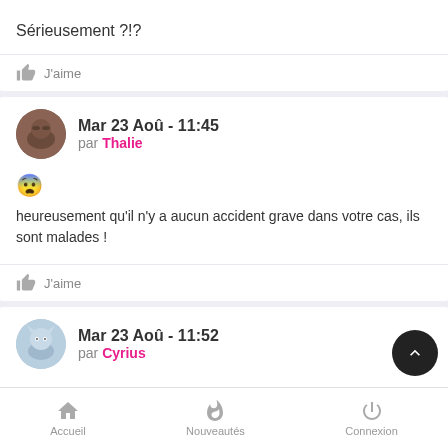Sérieusement ?!?
J'aime
Mar 23 Aoû - 11:45
par Thalie
😨 heureusement qu'il n'y a aucun accident grave dans votre cas, ils sont malades !
J'aime
Mar 23 Aoû - 11:52
par Cyrius
Accueil  Nouveautés  Connexion